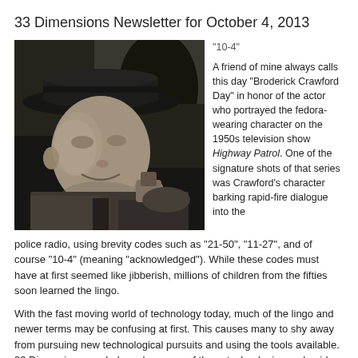33 Dimensions Newsletter for October 4, 2013
[Figure (photo): Black and white photograph of a man wearing a fedora hat, sitting in a car and speaking into a police radio microphone, smiling.]
“10-4”

A friend of mine always calls this day “Broderick Crawford Day” in honor of the actor who portrayed the fedora-wearing character on the 1950s television show Highway Patrol. One of the signature shots of that series was Crawford’s character barking rapid-fire dialogue into the police radio, using brevity codes such as “21-50”, “11-27”, and of course “10-4” (meaning “acknowledged”). While these codes must have at first seemed like jibberish, millions of children from the fifties soon learned the lingo.
With the fast moving world of technology today, much of the lingo and newer terms may be confusing at first. This causes many to shy away from pursuing new technological pursuits and using the tools available. 33 Dimensions can help make sense of these technologies and guide you